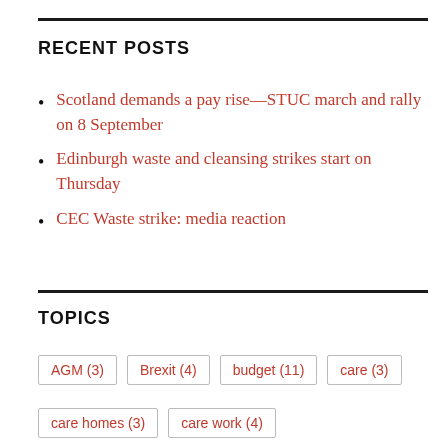RECENT POSTS
Scotland demands a pay rise—STUC march and rally on 8 September
Edinburgh waste and cleansing strikes start on Thursday
CEC Waste strike: media reaction
TOPICS
AGM (3)
Brexit (4)
budget (11)
care (3)
care homes (3)
care work (4)